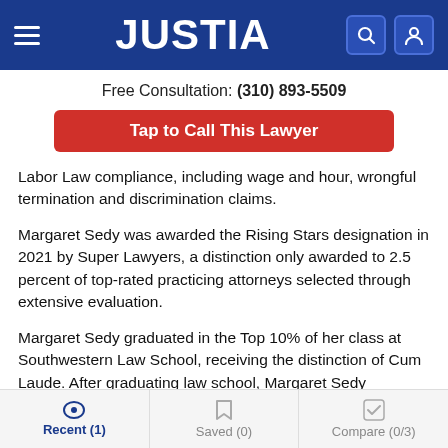[Figure (screenshot): Justia website header bar with hamburger menu on left, JUSTIA logo in center, search and user icons on right, all on dark blue background]
Free Consultation: (310) 893-5509
Tap to Call This Lawyer
Labor Law compliance, including wage and hour, wrongful termination and discrimination claims.
Margaret Sedy was awarded the Rising Stars designation in 2021 by Super Lawyers, a distinction only awarded to 2.5 percent of top-rated practicing attorneys selected through extensive evaluation.
Margaret Sedy graduated in the Top 10% of her class at Southwestern Law School, receiving the distinction of Cum Laude. After graduating law school, Margaret Sedy
Recent (1)   Saved (0)   Compare (0/3)